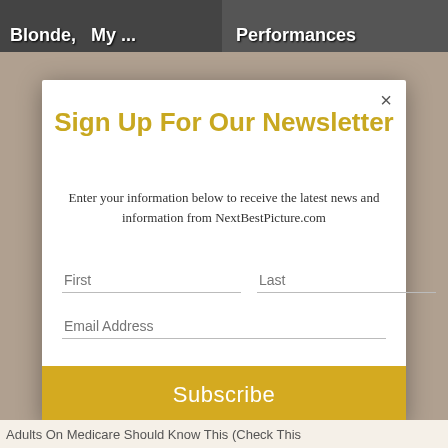[Figure (screenshot): Top banner with two dark thumbnail images labeled 'Blonde, My ...' and 'Performances']
Sign Up For Our Newsletter
Enter your information below to receive the latest news and information from NextBestPicture.com
First
Last
Email Address
Subscribe
Adults On Medicare Should Know This (Check This